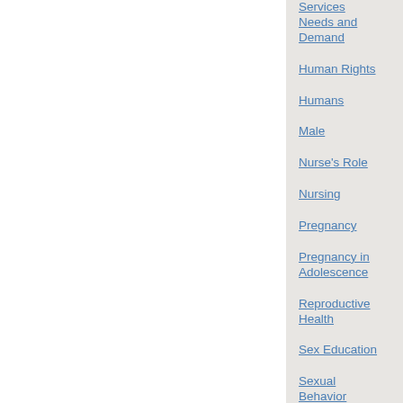Services Needs and Demand
Human Rights
Humans
Male
Nurse's Role
Nursing
Pregnancy
Pregnancy in Adolescence
Reproductive Health
Sex Education
Sexual Behavior
Sexually Transmitted Diseases